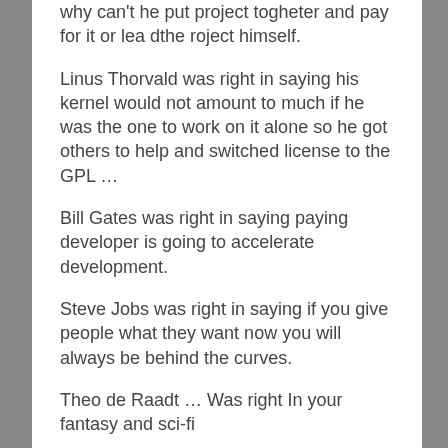why can't he put project togheter and pay for it or lea dthe roject himself.
Linus Thorvald was right in saying his kernel would not amount to much if he was the one to work on it alone so he got others to help and switched license to the GPL …
Bill Gates was right in saying paying developer is going to accelerate development.
Steve Jobs was right in saying if you give people what they want now you will always be behind the curves.
Theo de Raadt … Was right In your fantasy and sci-fi